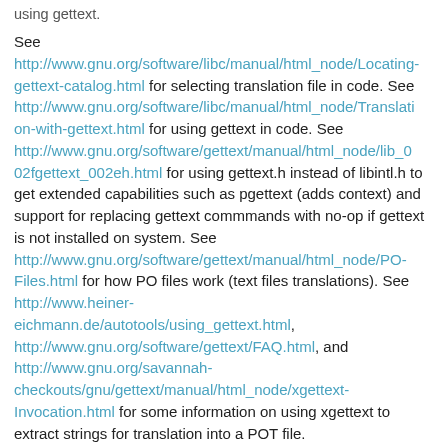using gettext.
See http://www.gnu.org/software/libc/manual/html_node/Locating-gettext-catalog.html for selecting translation file in code. See http://www.gnu.org/software/libc/manual/html_node/Translation-with-gettext.html for using gettext in code. See http://www.gnu.org/software/gettext/manual/html_node/lib_002fgettext_002eh.html for using gettext.h instead of libintl.h to get extended capabilities such as pgettext (adds context) and support for replacing gettext commmands with no-op if gettext is not installed on system. See http://www.gnu.org/software/gettext/manual/html_node/PO-Files.html for how PO files work (text files translations). See http://www.heiner-eichmann.de/autotools/using_gettext.html, http://www.gnu.org/software/gettext/FAQ.html, and http://www.gnu.org/savannah-checkouts/gnu/gettext/manual/html_node/xgettext-Invocation.html for some information on using xgettext to extract strings for translation into a POT file.